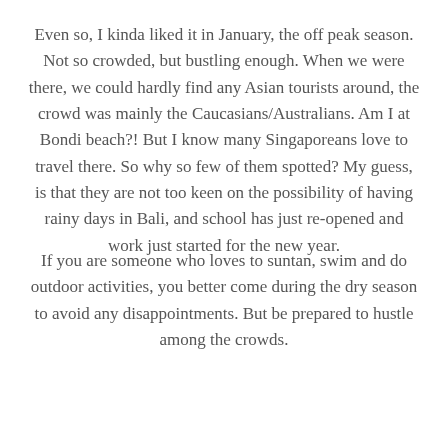Even so, I kinda liked it in January, the off peak season. Not so crowded, but bustling enough. When we were there, we could hardly find any Asian tourists around, the crowd was mainly the Caucasians/Australians. Am I at Bondi beach?! But I know many Singaporeans love to travel there. So why so few of them spotted? My guess, is that they are not too keen on the possibility of having rainy days in Bali, and school has just re-opened and work just started for the new year.
If you are someone who loves to suntan, swim and do outdoor activities, you better come during the dry season to avoid any disappointments. But be prepared to hustle among the crowds.